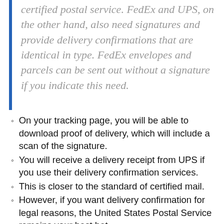certified postal service. FedEx and UPS, on the other hand, also need signatures and provide delivery confirmations that are identical in type. FedEx envelopes and parcels can be sent out without a signature if you indicate this need.
On your tracking page, you will be able to download proof of delivery, which will include a scan of the signature.
You will receive a delivery receipt from UPS if you use their delivery confirmation services.
This is closer to the standard of certified mail.
However, if you want delivery confirmation for legal reasons, the United States Postal Service remains your best bet.
Some courts and government organizations